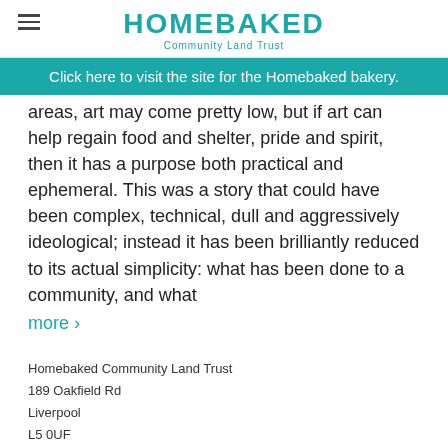HOMEBAKED Community Land Trust
Click here to visit the site for the Homebaked bakery.
areas, art may come pretty low, but if art can help regain food and shelter, pride and spirit, then it has a purpose both practical and ephemeral. This was a story that could have been complex, technical, dull and aggressively ideological; instead it has been brilliantly reduced to its actual simplicity: what has been done to a community, and what more ›
Homebaked Community Land Trust
189 Oakfield Rd
Liverpool
L5 0UF
info@homebaked.org.uk